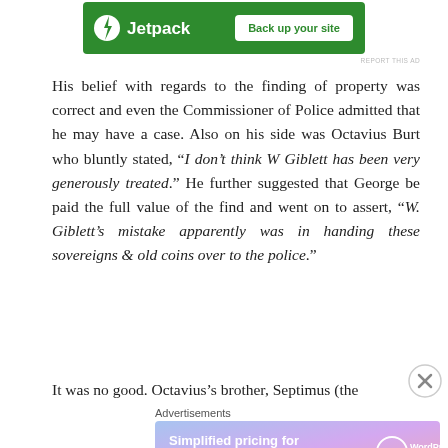[Figure (screenshot): Jetpack advertisement banner: green background with Jetpack logo and 'Back up your site' button]
His belief with regards to the finding of property was correct and even the Commissioner of Police admitted that he may have a case. Also on his side was Octavius Burt who bluntly stated, "“I don’t think W Giblett has been very generously treated.” He further suggested that George be paid the full value of the find and went on to assert, “W. Giblett’s mistake apparently was in handing these sovereigns & old coins over to the police.”
It was no good. Octavius’s brother, Septimus (the
[Figure (screenshot): WordPress.com advertisement: gradient background with 'Simplified pricing for everything you need.' and WordPress.com logo]